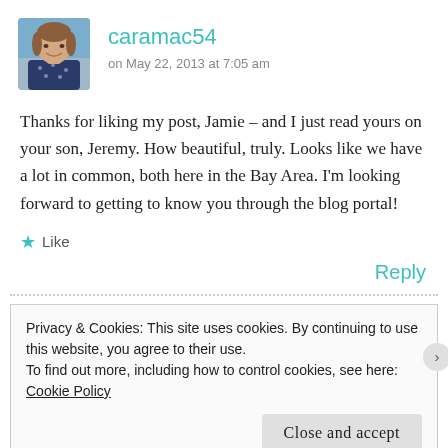[Figure (photo): Avatar photo of a woman with brown hair smiling, wearing a dark patterned top]
caramac54
on May 22, 2013 at 7:05 am
Thanks for liking my post, Jamie – and I just read yours on your son, Jeremy. How beautiful, truly. Looks like we have a lot in common, both here in the Bay Area. I'm looking forward to getting to know you through the blog portal!
★ Like
Reply
Privacy & Cookies: This site uses cookies. By continuing to use this website, you agree to their use.
To find out more, including how to control cookies, see here: Cookie Policy
Close and accept